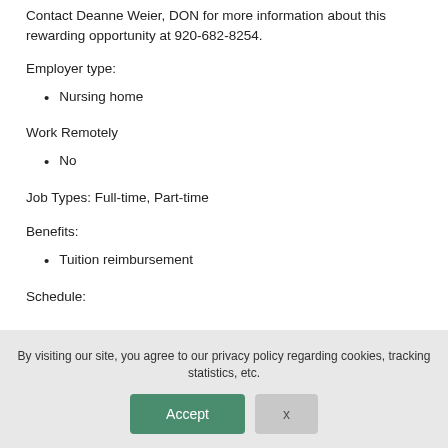Contact Deanne Weier, DON for more information about this rewarding opportunity at 920-682-8254.
Employer type:
Nursing home
Work Remotely
No
Job Types: Full-time, Part-time
Benefits:
Tuition reimbursement
Schedule:
By visiting our site, you agree to our privacy policy regarding cookies, tracking statistics, etc.